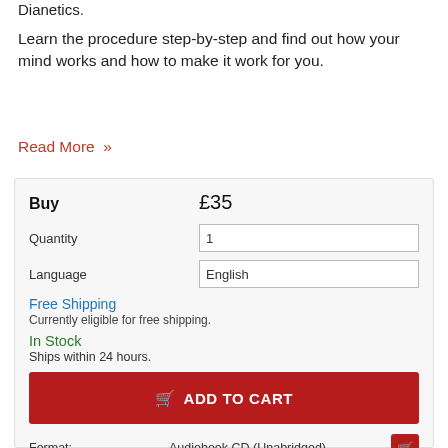Dianetics.
Learn the procedure step-by-step and find out how your mind works and how to make it work for you.
Read More »
| Buy | £35 |
| Quantity | 1 |
| Language | English |
Free Shipping
Currently eligible for free shipping.
In Stock
Ships within 24 hours.
ADD TO CART
Format: Audiobook CD (Unabridged)
Discs: 16